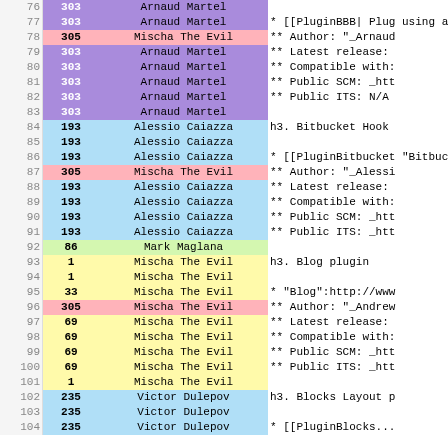| # | ID | Author | Content |
| --- | --- | --- | --- |
| 76 | 303 | Arnaud Martel |  |
| 77 | 303 | Arnaud Martel | * [[PluginBBB| Plug using a "BigBlueBut |
| 78 | 305 | Mischa The Evil | ** Author: "_Arnaud |
| 79 | 303 | Arnaud Martel | ** Latest release: |
| 80 | 303 | Arnaud Martel | ** Compatible with: |
| 81 | 303 | Arnaud Martel | ** Public SCM: _htt |
| 82 | 303 | Arnaud Martel | ** Public ITS: N/A |
| 83 | 303 | Arnaud Martel |  |
| 84 | 193 | Alessio Caiazza | h3. Bitbucket Hook |
| 85 | 193 | Alessio Caiazza |  |
| 86 | 193 | Alessio Caiazza | * [[PluginBitbucket "Bitbucket":http:// |
| 87 | 305 | Mischa The Evil | ** Author: "_Alessi |
| 88 | 193 | Alessio Caiazza | ** Latest release: |
| 89 | 193 | Alessio Caiazza | ** Compatible with: |
| 90 | 193 | Alessio Caiazza | ** Public SCM: _htt |
| 91 | 193 | Alessio Caiazza | ** Public ITS: _htt |
| 92 | 86 | Mark Maglana |  |
| 93 | 1 | Mischa The Evil | h3. Blog plugin |
| 94 | 1 | Mischa The Evil |  |
| 95 | 33 | Mischa The Evil | * "Blog":http://www |
| 96 | 305 | Mischa The Evil | ** Author: "_Andrew |
| 97 | 69 | Mischa The Evil | ** Latest release: |
| 98 | 69 | Mischa The Evil | ** Compatible with: |
| 99 | 69 | Mischa The Evil | ** Public SCM: _htt |
| 100 | 69 | Mischa The Evil | ** Public ITS: _htt |
| 101 | 1 | Mischa The Evil |  |
| 102 | 235 | Victor Dulepov | h3. Blocks Layout p |
| 103 | 235 | Victor Dulepov |  |
| 104 | 235 | Victor Dulepov | * [[PluginBlocks... |